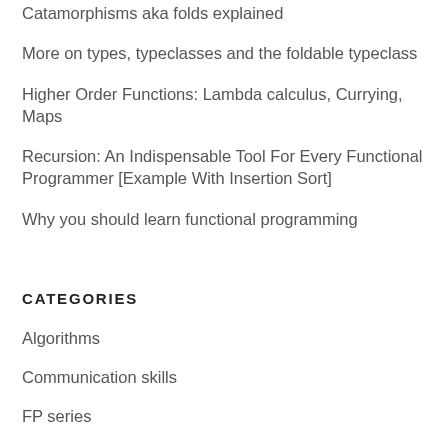Catamorphisms aka folds explained
More on types, typeclasses and the foldable typeclass
Higher Order Functions: Lambda calculus, Currying, Maps
Recursion: An Indispensable Tool For Every Functional Programmer [Example With Insertion Sort]
Why you should learn functional programming
CATEGORIES
Algorithms
Communication skills
FP series
Functional Programming